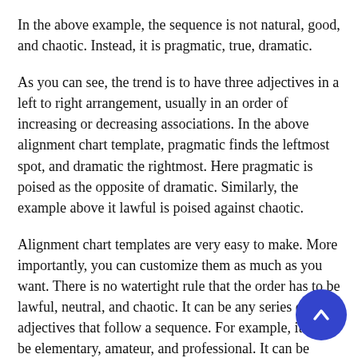In the above example, the sequence is not natural, good, and chaotic. Instead, it is pragmatic, true, dramatic.
As you can see, the trend is to have three adjectives in a left to right arrangement, usually in an order of increasing or decreasing associations. In the above alignment chart template, pragmatic finds the leftmost spot, and dramatic the rightmost. Here pragmatic is poised as the opposite of dramatic. Similarly, the example above it lawful is poised against chaotic.
Alignment chart templates are very easy to make. More importantly, you can customize them as much as you want. There is no watertight rule that the order has to be lawful, neutral, and chaotic. It can be any series of adjectives that follow a sequence. For example, it can be elementary, amateur, and professional. It can be good, okay, bad.